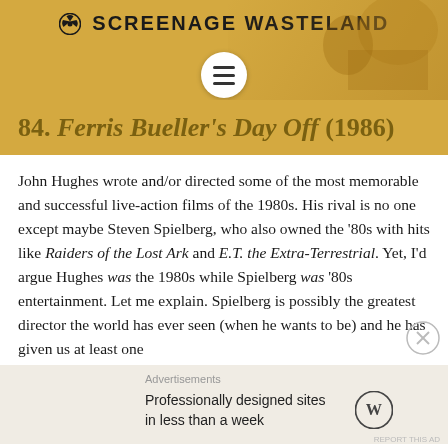☢ SCREENAGE WASTELAND
84. Ferris Bueller's Day Off (1986)
John Hughes wrote and/or directed some of the most memorable and successful live-action films of the 1980s. His rival is no one except maybe Steven Spielberg, who also owned the '80s with hits like Raiders of the Lost Ark and E.T. the Extra-Terrestrial. Yet, I'd argue Hughes was the 1980s while Spielberg was '80s entertainment. Let me explain. Spielberg is possibly the greatest director the world has ever seen (when he wants to be) and he has given us at least one
Advertisements
Professionally designed sites in less than a week